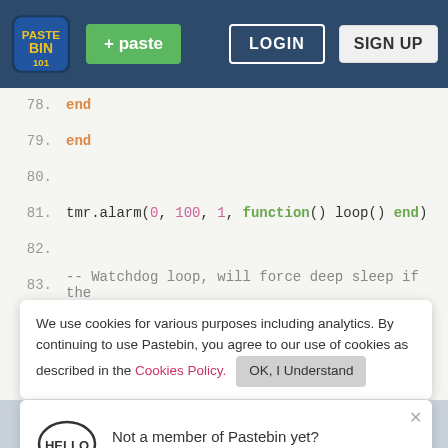[Figure (screenshot): Pastebin website header with logo, green paste button, LOGIN and SIGN UP buttons on dark blue background]
end
79.   end
80.
81.   tmr.alarm(0, 100, 1, function() loop() end)
82.
83.   -- Watchdog loop, will force deep sleep if the
84.   tm
no
85.   -- eof
We use cookies for various purposes including analytics. By continuing to use Pastebin, you agree to our use of cookies as described in the Cookies Policy.   OK, I Understand
Not a member of Pastebin yet? Sign Up, it unlocks many cool features!